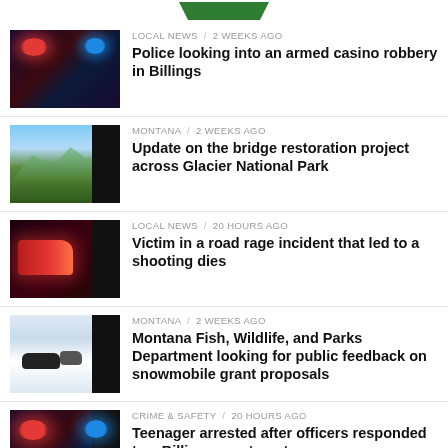LOCAL NEWS / 2 weeks ago
Police looking into an armed casino robbery in Billings
MONTANA / 2 weeks ago
Update on the bridge restoration project across Glacier National Park
LOCAL NEWS / 20 hours ago
Victim in a road rage incident that led to a shooting dies
MONTANA / 2 weeks ago
Montana Fish, Wildlife, and Parks Department looking for public feedback on snowmobile grant proposals
CRIME & SAFETY / 20 hours ago
Teenager arrested after officers responded to a Billings apartment